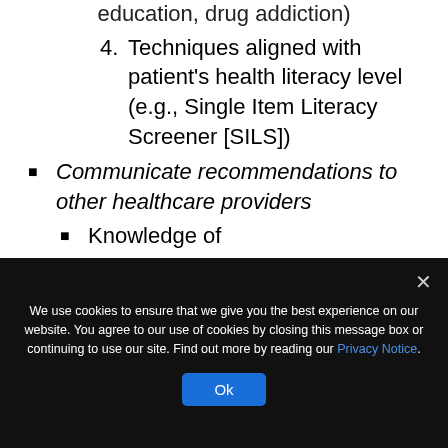education, drug addiction)
4. Techniques aligned with patient's health literacy level (e.g., Single Item Literacy Screener [SILS])
Communicate recommendations to other healthcare providers
Knowledge of
1. SBAR Framework with checkback strategy
2. SCAR...
We use cookies to ensure that we give you the best experience on our website. You agree to our use of cookies by closing this message box or continuing to use our site. Find out more by reading our Privacy Notice.
Ok